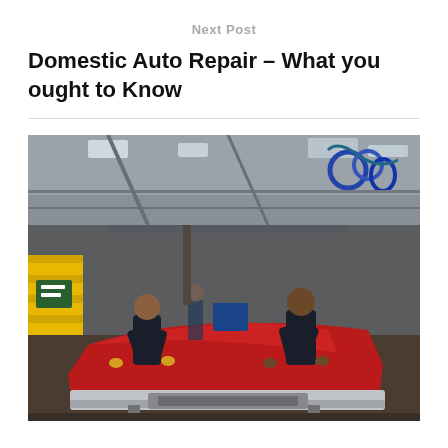Next Post
Domestic Auto Repair – What you ought to Know
[Figure (photo): Two workers in dark uniforms leaning over a red car on an automotive assembly line in a large industrial factory, with yellow equipment and overhead cables/hoses visible.]